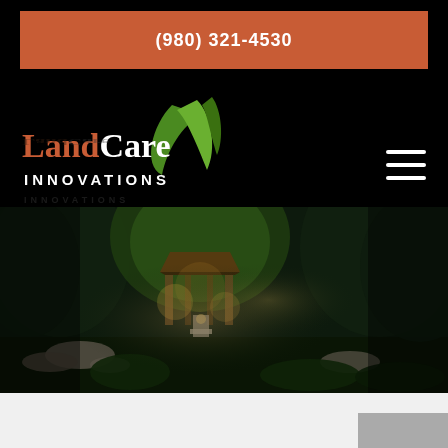(980) 321-4530
[Figure (logo): LandCare Innovations logo with orange and white text and green leaf graphic on black background]
[Figure (photo): Nighttime photo of a landscaped garden with illuminated gazebo structure surrounded by trees, plants, rocks and outdoor lighting]
[Figure (other): Gray rectangular block in bottom right corner]